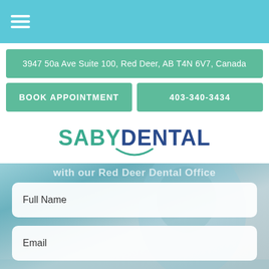Navigation menu (hamburger icon)
3947 50a Ave Suite 100, Red Deer, AB T4N 6V7, Canada
BOOK APPOINTMENT
403-340-3434
SABY DENTAL
with our Red Deer Dental Office
Full Name
Email
Phone
Text Us